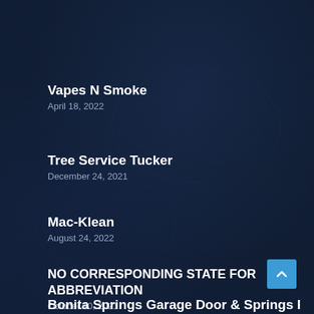Vapes N Smoke
April 18, 2022
Tree Service Tucker
December 24, 2021
Mac-Klean
August 24, 2022
NO CORRESPONDING STATE FOR ABBREVIATION
October 10, 2021
Bonita Springs Garage Door & Springs Pros